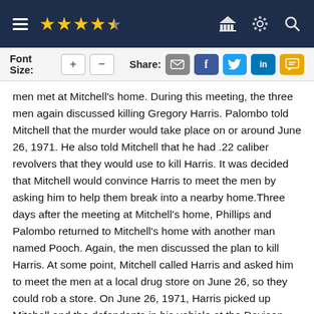Navigation bar with hamburger menu, 4.5 star rating, and icons for institution, settings, search
Font Size: + −   Share: [email] [f] [twitter] [in] [sms]
men met at Mitchell's home. During this meeting, the three men again discussed killing Gregory Harris. Palombo told Mitchell that the murder would take place on or around June 26, 1971. He also told Mitchell that he had .22 caliber revolvers that they would use to kill Harris. It was decided that Mitchell would convince Harris to meet the men by asking him to help them break into a nearby home.Three days after the meeting at Mitchell's home, Phillips and Palombo returned to Mitchell's home with another man named Pooch. Again, the men discussed the plan to kill Harris. At some point, Mitchell called Harris and asked him to meet the men at a local drug store on June 26, so they could rob a store. On June 26, 1971, Harris picked up Mitchell and the defendants in his vehicle at the Davison Drug Store. The men drove to a second location and picked up Pooch. They dropped Mitchell off at a local bar, under the guise that he would be the look-out for the breaking and entering. Phillips, Palombo, Harris and Pooch drove away while Mitchell waited at the bar. A few hours later, Phillips and Palombo came to the bar and Palombo told Mitchell that "the